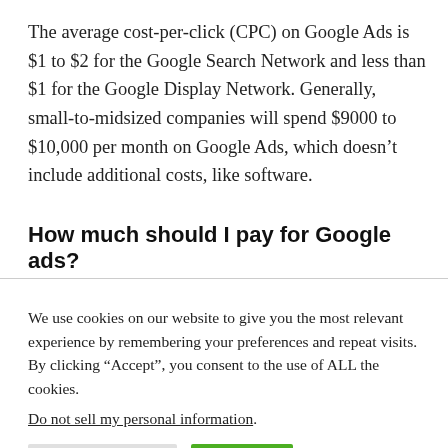The average cost-per-click (CPC) on Google Ads is $1 to $2 for the Google Search Network and less than $1 for the Google Display Network. Generally, small-to-midsized companies will spend $9000 to $10,000 per month on Google Ads, which doesn't include additional costs, like software.
How much should I pay for Google ads?
We use cookies on our website to give you the most relevant experience by remembering your preferences and repeat visits. By clicking “Accept”, you consent to the use of ALL the cookies.
Do not sell my personal information.